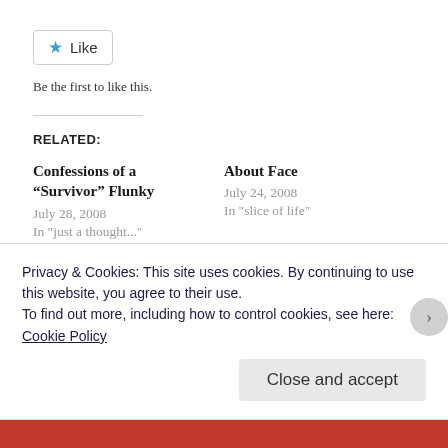[Figure (other): Like button with blue star icon and 'Like' text, styled as a web UI button]
Be the first to like this.
RELATED:
Confessions of a “Survivor” Flunky
July 28, 2008
In "just a thought..."
About Face
July 24, 2008
In "slice of life"
Through the Fire: A Personal Perspective on the Impact of Waldo Canyon Fi…
Privacy & Cookies: This site uses cookies. By continuing to use this website, you agree to their use.
To find out more, including how to control cookies, see here:
Cookie Policy
Close and accept